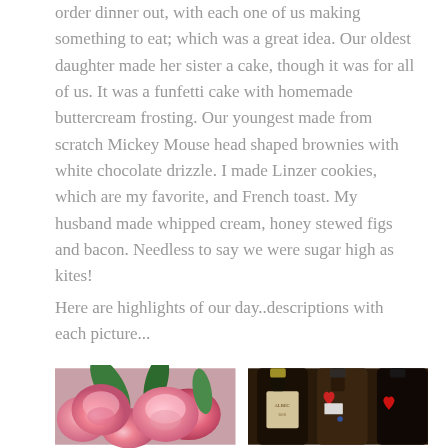order dinner out, with each one of us making something to eat; which was a great idea. Our oldest daughter made her sister a cake, though it was for all of us. It was a funfetti cake with homemade buttercream frosting. Our youngest made from scratch Mickey Mouse head shaped brownies with white chocolate drizzle. I made Linzer cookies, which are my favorite, and French toast. My husband made whipped cream, honey stewed figs and bacon. Needless to say we were sugar high as kites!
Here are highlights of our day..descriptions with each picture...
[Figure (photo): Close-up photo of pink and red roses with green leaves]
[Figure (photo): Photo of wine bottles with red heart decorations, label partially visible reading ALBEC]